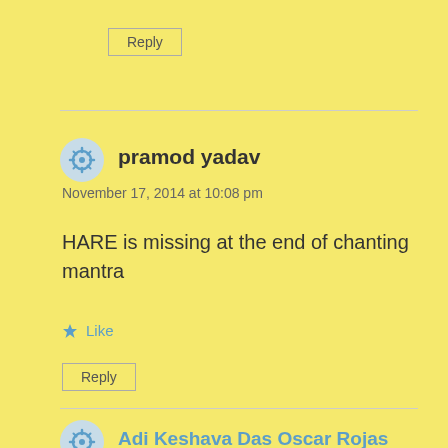Reply
pramod yadav
November 17, 2014 at 10:08 pm
HARE is missing at the end of chanting mantra
Like
Reply
Adi Keshava Das Oscar Rojas